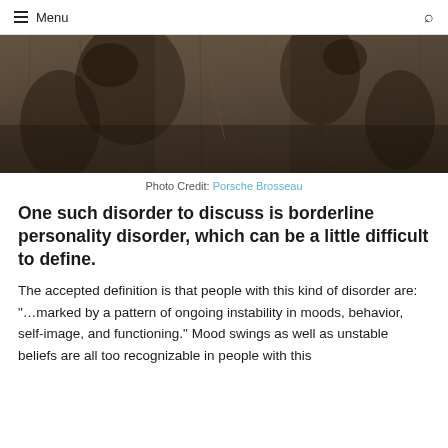Menu
[Figure (photo): Dark moody photograph showing shadowy silhouettes or handprints against a weathered wooden background]
Photo Credit: Porsche Brosseau
One such disorder to discuss is borderline personality disorder, which can be a little difficult to define.
The accepted definition is that people with this kind of disorder are: "…marked by a pattern of ongoing instability in moods, behavior, self-image, and functioning." Mood swings as well as unstable beliefs are all too recognizable in people with this